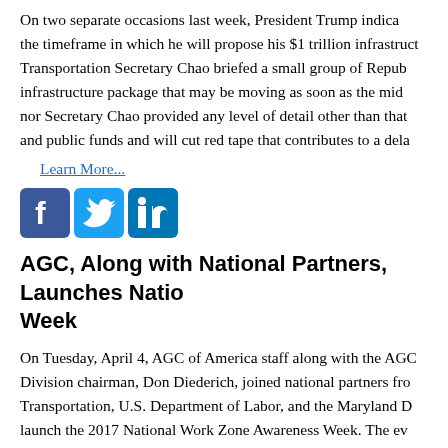On two separate occasions last week, President Trump indica... the timeframe in which he will propose his $1 trillion infrastruct... Transportation Secretary Chao briefed a small group of Repub... infrastructure package that may be moving as soon as the mid... nor Secretary Chao provided any level of detail other than that... and public funds and will cut red tape that contributes to a dela...
Learn More...
[Figure (other): Social media sharing icons: Facebook, Twitter, LinkedIn]
AGC, Along with National Partners, Launches Natio... Week
On Tuesday, April 4, AGC of America staff along with the AGC... Division chairman, Don Diederich, joined national partners fro... Transportation, U.S. Department of Labor, and the Maryland D... launch the 2017 National Work Zone Awareness Week. The ev... 2017, raises awareness that – for the safety of everyone – wo... focused and stay alert. According to the latest data available, a... occurred in highway work zones in 2015 with 130 being worke...